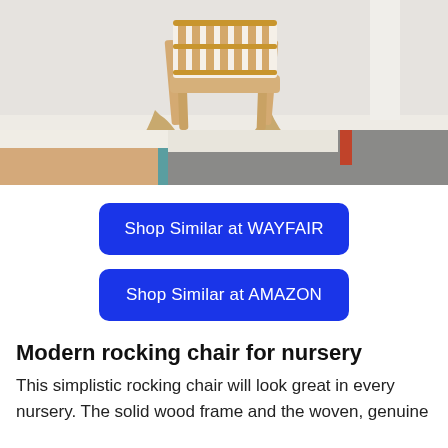[Figure (photo): A modern wooden rocking chair with woven back, placed on a colorful geometric area rug with cream, tan, teal, red, and gray sections, set against a light gray background.]
Shop Similar at WAYFAIR
Shop Similar at AMAZON
Modern rocking chair for nursery
This simplistic rocking chair will look great in every nursery. The solid wood frame and the woven, genuine